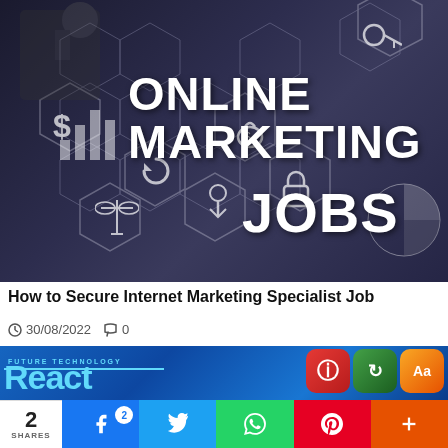[Figure (photo): Dark background image with white bold text reading ONLINE MARKETING JOBS, with hexagonal icons and a person thinking in the background]
How to Secure Internet Marketing Specialist Job
30/08/2022  0
[Figure (photo): Blue background with React text in teal and colorful app icons (info, share, type) on the right]
2 SHARES | Facebook 2 | Twitter | WhatsApp | Pinterest | More